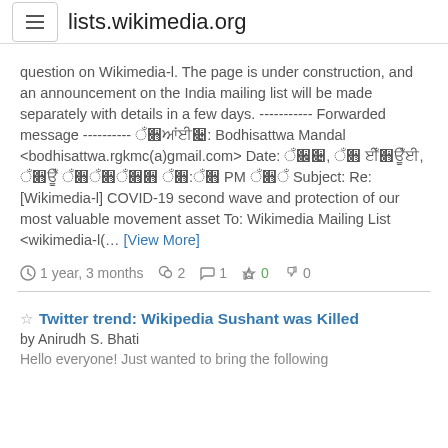lists.wikimedia.org
question on Wikimedia-l. The page is under construction, and an announcement on the India mailing list will be made separately with details in a few days. ----------- Forwarded message ---------- ????????: Bodhisattwa Mandal <bodhisattwa.rgkmc(a)gmail.com> Date: ???, ?? ??????, ???? ??????? ??:?? PM ??? Subject: Re: [Wikimedia-l] COVID-19 second wave and protection of our most valuable movement asset To: Wikimedia Mailing List <wikimedia-l(... [View More]
1 year, 3 months  2  1  0  0
Twitter trend: Wikipedia Sushant was Killed
by Anirudh S. Bhati
Hello everyone! Just wanted to bring the following